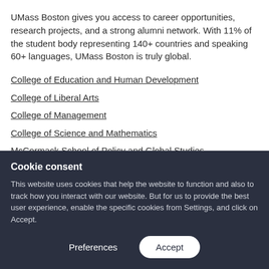UMass Boston gives you access to career opportunities, research projects, and a strong alumni network. With 11% of the student body representing 140+ countries and speaking 60+ languages, UMass Boston is truly global.
College of Education and Human Development
College of Liberal Arts
College of Management
College of Science and Mathematics
McCormack School of Policy and Global Studies
School for the Environment
Cookie consent
This website uses cookies that help the website to function and also to track how you interact with our website. But for us to provide the best user experience, enable the specific cookies from Settings, and click on Accept.
Preferences
Accept